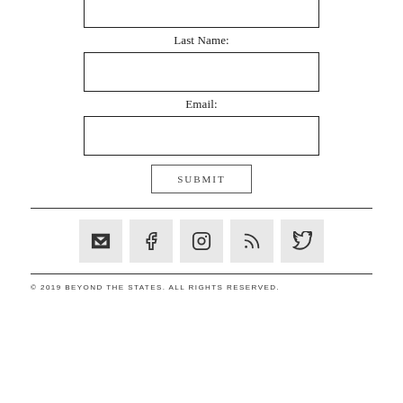Last Name:
[Figure (other): Empty text input box for Last Name field]
Email:
[Figure (other): Empty text input box for Email field]
SUBMIT
[Figure (other): Social media icon buttons: email, facebook, instagram, rss, twitter]
© 2019 BEYOND THE STATES. ALL RIGHTS RESERVED.